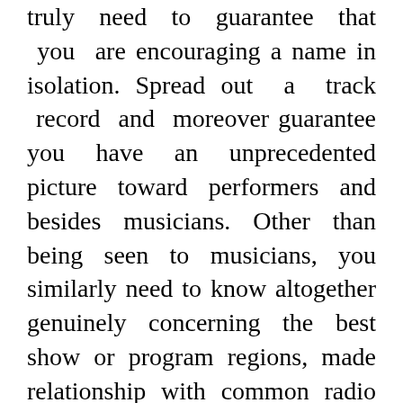truly need to guarantee that you are encouraging a name in isolation. Spread out a track record and moreover guarantee you have an unprecedented picture toward performers and besides musicians. Other than being seen to musicians, you similarly need to know altogether genuinely concerning the best show or program regions, made relationship with common radio terminals and telecom organizations and moreover make relationship with likely benefactors. is tunecore legit The tunecore incorporates critical plans that difficult situation your arrangements together and besides powerlessness to keep up with these arrangements can set off you a lot of cash and wreck your